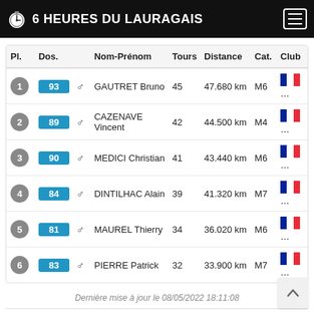6 HEURES DU LAURAGAIS
| Pl. | Dos. | Nom-Prénom | Tours | Distance | Cat. | Club |
| --- | --- | --- | --- | --- | --- | --- |
| 1 | 93 | GAUTRET Bruno | 45 | 47.680 km | M6 | 🇫🇷... |
| 2 | 89 | CAZENAVE Vincent | 42 | 44.500 km | M4 | 🇫🇷... |
| 3 | 90 | MEDICI Christian | 41 | 43.440 km | M6 | 🇫🇷... |
| 4 | 84 | DINTILHAC Alain | 39 | 41.320 km | M7 | 🇫🇷... |
| 5 | 81 | MAUREL Thierry | 34 | 36.020 km | M6 | 🇫🇷... |
| 6 | 83 | PIERRE Patrick | 32 | 33.900 km | M7 | 🇫🇷... |
Dernière mise à jour le 08/05/2022 18:11:08
Copyright © 2022 Chrono-Start. All Rights Reserved.